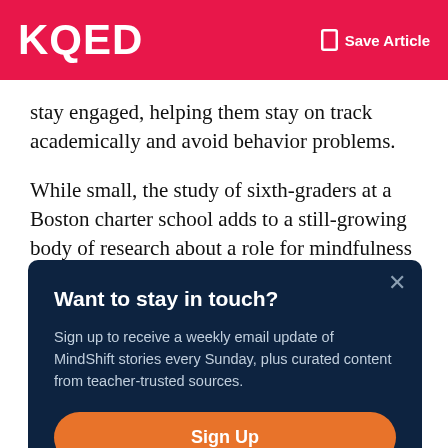KQED   Save Article
stay engaged, helping them stay on track academically and avoid behavior problems.
While small, the study of sixth-graders at a Boston charter school adds to a still-growing body of research about a role for mindfulness in the classroom. In recent years, the topic
Want to stay in touch?
Sign up to receive a weekly email update of MindShift stories every Sunday, plus curated content from teacher-trusted sources.
Sign Up